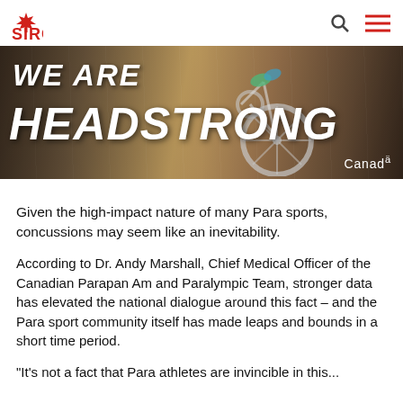SIRC
[Figure (photo): Banner image of a wheelchair athlete with text 'WE ARE HEADSTRONG' and Canada logo]
Given the high-impact nature of many Para sports, concussions may seem like an inevitability.
According to Dr. Andy Marshall, Chief Medical Officer of the Canadian Parapan Am and Paralympic Team, stronger data has elevated the national dialogue around this fact – and the Para sport community itself has made leaps and bounds in a short time period.
"It's not a fact that Para athletes are invincible in this...